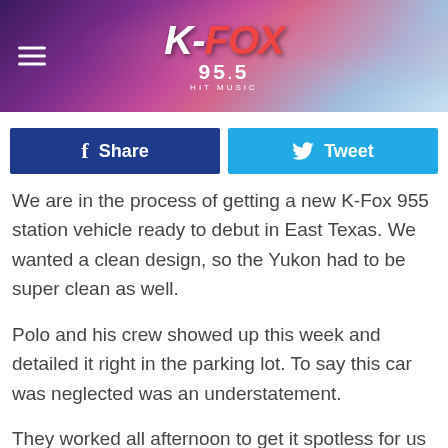[Figure (logo): K-Fox 95.5 radio station header banner with purple/pink gradient background and hamburger menu icon]
[Figure (infographic): Facebook Share button (dark blue) and Twitter Tweet button (light blue) social sharing bar]
We are in the process of getting a new K-Fox 955 station vehicle ready to debut in East Texas. We wanted a clean design, so the Yukon had to be super clean as well.
Polo and his crew showed up this week and detailed it right in the parking lot. To say this car was neglected was an understatement.
They worked all afternoon to get it spotless for us and for Real Graphics to put the new wrap on it next week. He has a completely self-contained mobile wash system and took care of us on a very hot summer afternoon.
Dutch Touch Customs Is A High-End Detailer In Lufkin, Texas